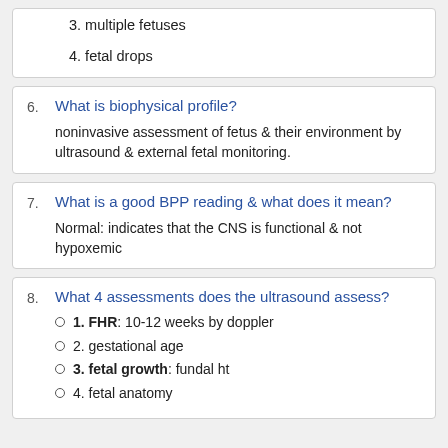3. multiple fetuses
4. fetal drops
6. What is biophysical profile?
noninvasive assessment of fetus & their environment by ultrasound & external fetal monitoring.
7. What is a good BPP reading & what does it mean?
Normal: indicates that the CNS is functional & not hypoxemic
8. What 4 assessments does the ultrasound assess?
1. FHR: 10-12 weeks by doppler
2. gestational age
3. fetal growth: fundal ht
4. fetal anatomy